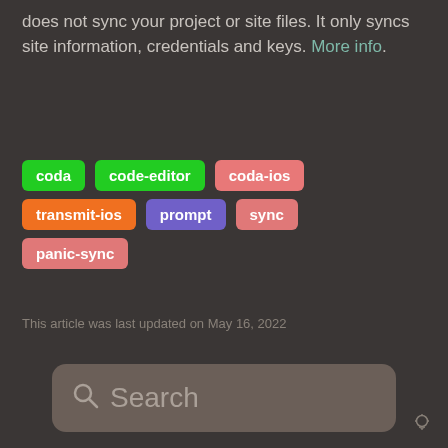does not sync your project or site files. It only syncs site information, credentials and keys. More info.
coda
code-editor
coda-ios
transmit-ios
prompt
sync
panic-sync
This article was last updated on May 16, 2022
[Figure (screenshot): Search input box with magnifying glass icon and placeholder text 'Search']